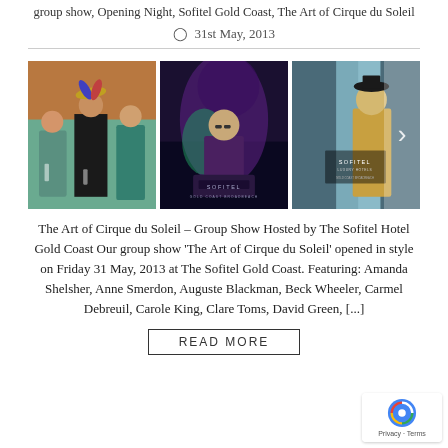group show, Opening Night, Sofitel Gold Coast, The Art of Cirque du Soleil
31st May, 2013
[Figure (photo): Three photos from the Opening Night of The Art of Cirque du Soleil group show at Sofitel Gold Coast. Left: Three attendees posing, one wearing a feathered headdress, holding champagne glasses. Middle: A woman speaking at a podium with Sofitel Gold Coast Broadbeach branding. Right: Partial view of a woman in a hat in front of Sofitel Luxury Hotels signage, with a right-arrow navigation overlay.]
The Art of Cirque du Soleil – Group Show Hosted by The Sofitel Hotel Gold Coast Our group show 'The Art of Cirque du Soleil' opened in style on Friday 31 May, 2013 at The Sofitel Gold Coast. Featuring: Amanda Shelsher, Anne Smerdon, Auguste Blackman, Beck Wheeler, Carmel Debreuil, Carole King, Clare Toms, David Green, [...]
READ MORE